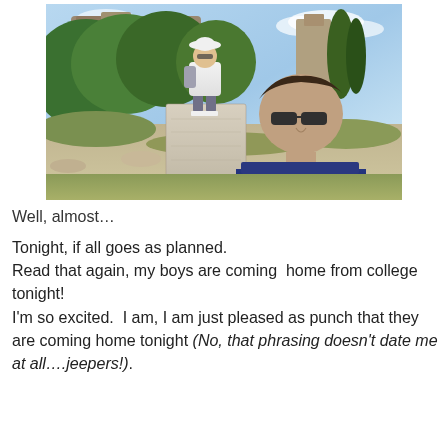[Figure (photo): Two young men at an outdoor archaeological or historical ruin site. One person stands on a large stone pedestal or block wearing a white t-shirt, shorts, and a bucket hat with a backpack. Another person in a dark navy blue shirt is in the foreground. Stone ruins and lush green trees are visible in the background under a partly cloudy sky.]
Well, almost…
Tonight, if all goes as planned.
Read that again, my boys are coming  home from college tonight!
I'm so excited.  I am, I am just pleased as punch that they are coming home tonight (No, that phrasing doesn't date me at all….jeepers!).